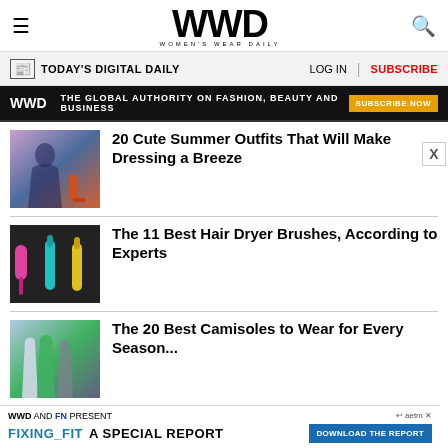WWD — WOMEN'S WEAR DAILY
TODAY'S DIGITAL DAILY | LOG IN | SUBSCRIBE
WWD — THE GLOBAL AUTHORITY ON FASHION, BEAUTY AND BUSINESS — SUBSCRIBE NOW
20 Cute Summer Outfits That Will Make Dressing a Breeze
The 11 Best Hair Dryer Brushes, According to Experts
The 20 Best Camisoles to Wear for Every Season...
WWD AND FN PRESENT FIXING_FIT A SPECIAL REPORT — DOWNLOAD THE REPORT